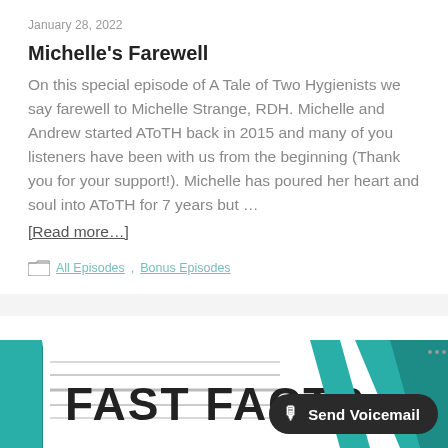January 28, 2022
Michelle's Farewell
On this special episode of A Tale of Two Hygienists we say farewell to Michelle Strange, RDH. Michelle and Andrew started AToTH back in 2015 and many of you listeners have been with us from the beginning (Thank you for your support!). Michelle has poured her heart and soul into AToTH for 7 years but …
[Read more…]
All Episodes, Bonus Episodes
[Figure (screenshot): Fast Facts banner image with teal geometric design and speed-line text logo]